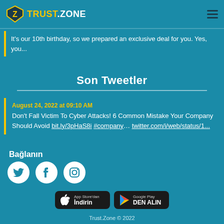TRUST.ZONE
It's our 10th birthday, so we prepared an exclusive deal for you. Yes, you...
Son Tweetler
August 24, 2022 at 09:10 AM
Don't Fall Victim To Cyber Attacks! 6 Common Mistake Your Company Should Avoid bit.ly/3pHaS8i #company… twitter.com/i/web/status/1...
Bağlanın
[Figure (logo): Twitter, Facebook, Instagram social media icons in white circles]
[Figure (logo): App Store'dan Indirin button]
[Figure (logo): Google Play'den Alin button]
Trust.Zone © 2022